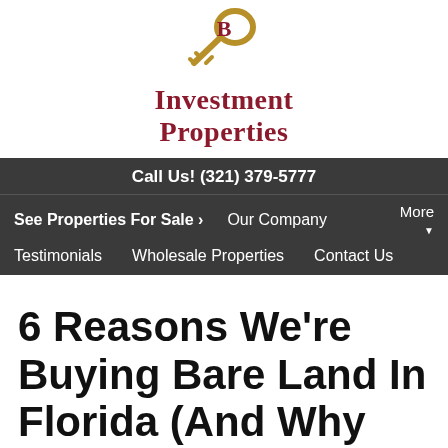[Figure (logo): NB Investment Properties logo with a golden key and dark red serif text]
Call Us! (321) 379-5777
See Properties For Sale › | Our Company | More | Testimonials | Wholesale Properties | Contact Us
6 Reasons We're Buying Bare Land In Florida (And Why You Might Want To Buy Too)